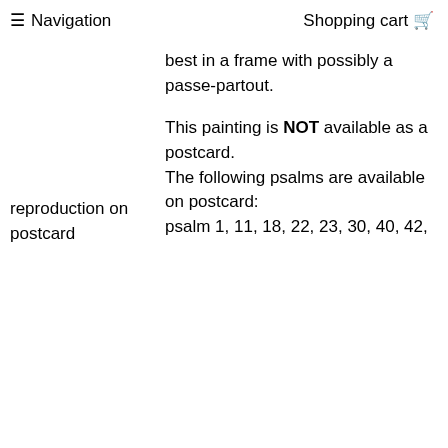≡ Navigation   Shopping cart 🛒
best in a frame with possibly a passe-partout.
reproduction on postcard
This painting is NOT available as a postcard. The following psalms are available on postcard: psalm 1, 11, 18, 22, 23, 30, 40, 42,